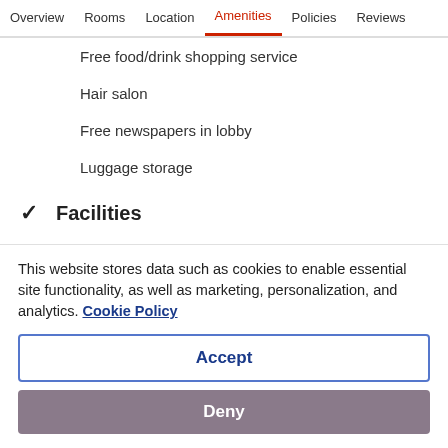Overview  Rooms  Location  Amenities  Policies  Reviews
Free food/drink shopping service
Hair salon
Free newspapers in lobby
Luggage storage
✓ Facilities
Safe-deposit box at front desk
Picnic area
Fitness centre
This website stores data such as cookies to enable essential site functionality, as well as marketing, personalization, and analytics. Cookie Policy
Accept
Deny